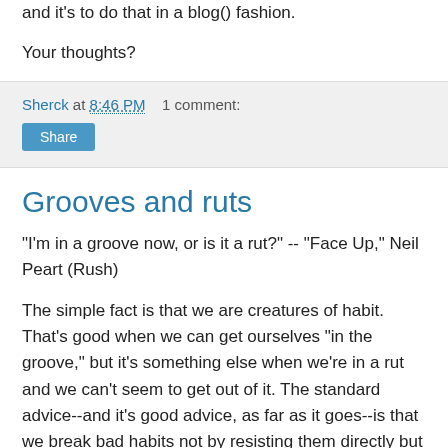and it's to do that in a blog() fashion.
Your thoughts?
Sherck at 8:46 PM    1 comment:
Share
Grooves and ruts
"I'm in a groove now, or is it a rut?" -- "Face Up," Neil Peart (Rush)
The simple fact is that we are creatures of habit. That's good when we can get ourselves "in the groove," but it's something else when we're in a rut and we can't seem to get out of it. The standard advice--and it's good advice, as far as it goes--is that we break bad habits not by resisting them directly but by replacing them with new habits.